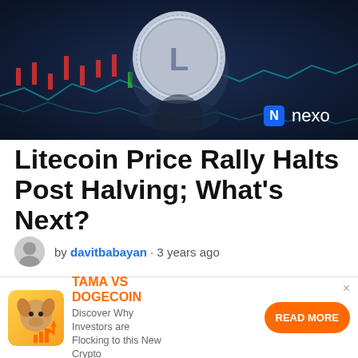[Figure (photo): Dark blue background with cryptocurrency coin (Litecoin) displayed in center, stock market candlestick chart with red and green candles in background, and Nexo logo with blue diamond icon in bottom right]
Litecoin Price Rally Halts Post Halving; What's Next?
by davitbabayan · 3 years ago
[Figure (screenshot): Ticker bar showing XRP with dark logo icon, a small red line chart, and Luna Classic with yellow/orange coin icon]
[Figure (advertisement): Ad banner for TAMA VS DOGECOIN with orange mascot icon, text 'Discover Why Investors are Flocking to this New Crypto', and orange READ MORE button]